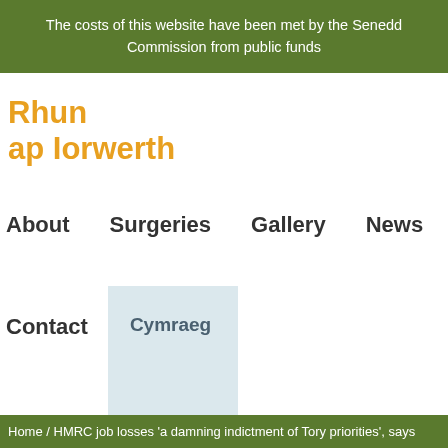The costs of this website have been met by the Senedd Commission from public funds
Rhun ap Iorwerth
About
Surgeries
Gallery
News
Contact
Cymraeg
Home / HMRC job losses 'a damning indictment of Tory priorities', says